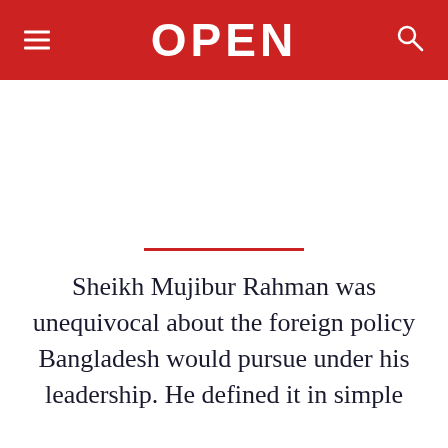OPEN
Sheikh Mujibur Rahman was unequivocal about the foreign policy Bangladesh would pursue under his leadership. He defined it in simple